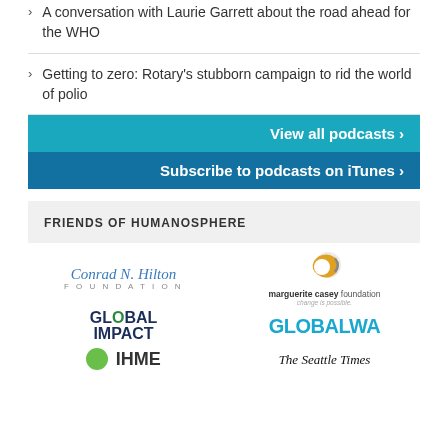A conversation with Laurie Garrett about the road ahead for the WHO
Getting to zero: Rotary's stubborn campaign to rid the world of polio
View all podcasts ›
Subscribe to podcasts on iTunes ›
FRIENDS OF HUMANOSPHERE
[Figure (logo): Conrad N. Hilton Foundation logo]
[Figure (logo): Marguerite Casey Foundation logo with orange and grey C shape and tagline 'change is possible']
[Figure (logo): Global Impact logo with globe replacing the O]
[Figure (logo): GlobalWA logo in teal]
[Figure (logo): IHME logo with green circle partially visible]
[Figure (logo): The Seattle Times logo partially visible]